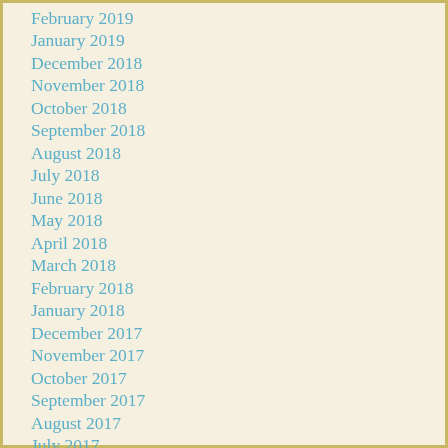February 2019
January 2019
December 2018
November 2018
October 2018
September 2018
August 2018
July 2018
June 2018
May 2018
April 2018
March 2018
February 2018
January 2018
December 2017
November 2017
October 2017
September 2017
August 2017
July 2017
June 2017
May 2017
April 2017
March 2017